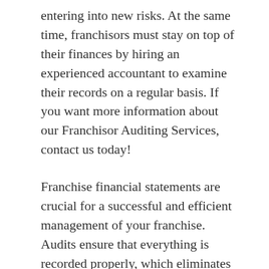entering into new risks. At the same time, franchisors must stay on top of their finances by hiring an experienced accountant to examine their records on a regular basis. If you want more information about our Franchisor Auditing Services, contact us today!
Franchise financial statements are crucial for a successful and efficient management of your franchise. Audits ensure that everything is recorded properly, which eliminates the risk of running into problems with meeting regulatory or compliance standards. There may be some additional advantages to undergoing this procedure, such as detecting any internal issues that could help you address current and future